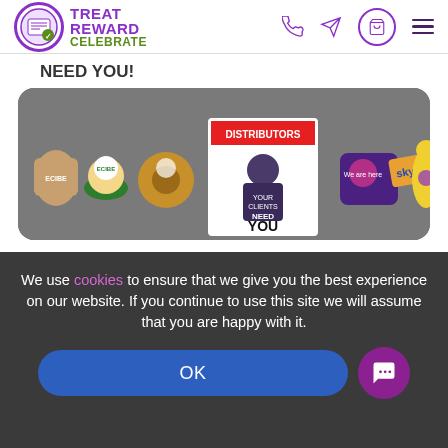[Figure (logo): Treat Reward Celebrate logo with purple circular emblem and navigation icons (phone, send, basket, hamburger menu)]
NEED YOU!
[Figure (photo): Photo showing branded food items and confectionery including cupcakes, cookies, and chocolates arranged on a table with a central poster reading 'DISTRIBUTORS YOUR CLIENTS NEED YOU']
We use cookies to ensure that we give you the best experience on our website. If you continue to use this site we will assume that you are happy with it.
OK